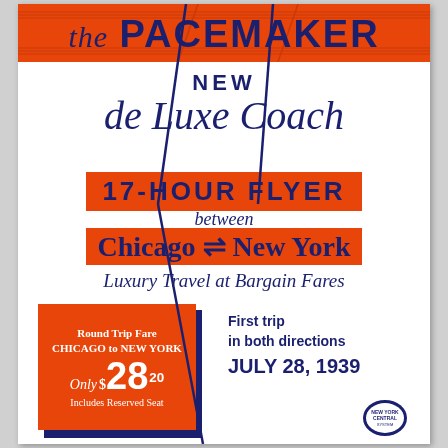the PACEMAKER
NEW
de Luxe Coach
17-HOUR FLYER
between
Chicago ⇌ New York
Luxury Travel at Bargain Fares
Round Trip Fare CHICAGO to NEW YORK Only $28.20 Includes Reserved Seat
First trip in both directions JULY 28, 1939
[Figure (logo): New York Central System circular logo]